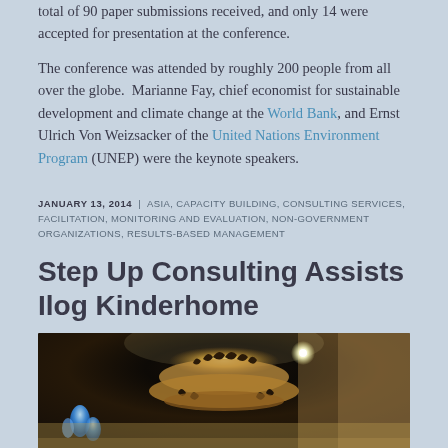total of 90 paper submissions received, and only 14 were accepted for presentation at the conference.
The conference was attended by roughly 200 people from all over the globe. Marianne Fay, chief economist for sustainable development and climate change at the World Bank, and Ernst Ulrich Von Weizsacker of the United Nations Environment Program (UNEP) were the keynote speakers.
JANUARY 13, 2014 | ASIA, CAPACITY BUILDING, CONSULTING SERVICES, FACILITATION, MONITORING AND EVALUATION, NON-GOVERNMENT ORGANIZATIONS, RESULTS-BASED MANAGEMENT
Step Up Consulting Assists Ilog Kinderhome
[Figure (photo): Interior photo showing an ornate chandelier with leaf decorations, photographed from below, with ceiling lights visible and warm amber/gold tones. Blue crystal or glass accents visible on the left side.]